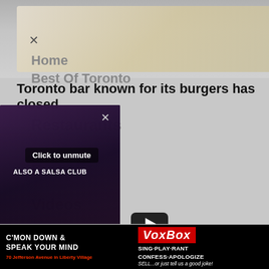[Figure (photo): Food photo at top of page, partially visible, appears to be a dish on a plate]
×
Toronto bar known for its burgers has closed
Home
Best Of Toronto
Restaurants
Events
Videos
Patio Guides
Contests
[Figure (screenshot): Video popup overlay showing a dark nightclub/bar scene with text 'ALSO A SALSA CLUB', click to unmute button, pause button, and 'in Toronto transforms into' caption. YouTube play button visible beside popup.]
Click to unmute
ALSO A SALSA CLUB
in Toronto transforms into
Privacy Policy
Newsletter
[Figure (screenshot): Bottom advertisement banner for VoxBox at 70 Jefferson Avenue in Liberty Village. Text reads: C'MON DOWN & SPEAK YOUR MIND / VoxBox / SING PLAY RANT / CONFESS APOLOGIZE / SELL...or just tell us a good joke!]